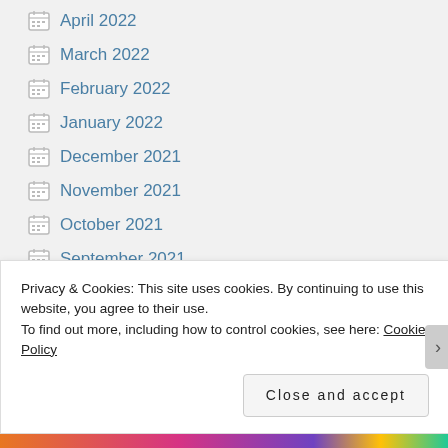April 2022
March 2022
February 2022
January 2022
December 2021
November 2021
October 2021
September 2021
August 2021
July 2021
Privacy & Cookies: This site uses cookies. By continuing to use this website, you agree to their use.
To find out more, including how to control cookies, see here: Cookie Policy
Close and accept